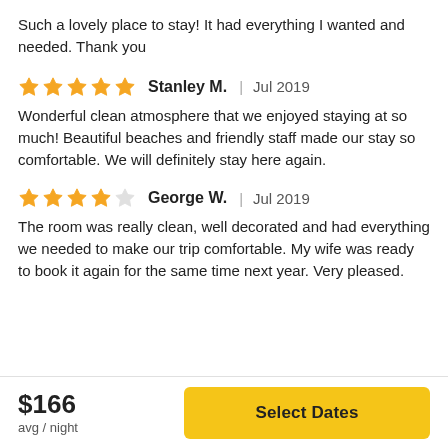Such a lovely place to stay! It had everything I wanted and needed. Thank you
Stanley M.  |  Jul 2019
Wonderful clean atmosphere that we enjoyed staying at so much! Beautiful beaches and friendly staff made our stay so comfortable. We will definitely stay here again.
George W.  |  Jul 2019
The room was really clean, well decorated and had everything we needed to make our trip comfortable. My wife was ready to book it again for the same time next year. Very pleased.
$166
avg / night
Select Dates